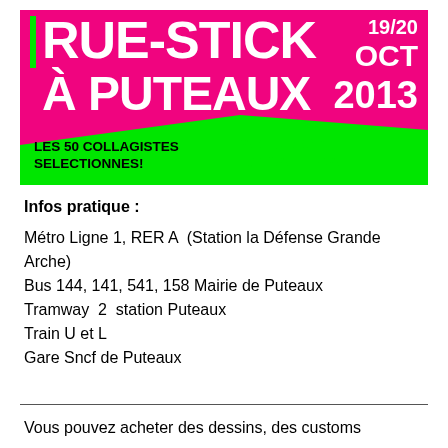[Figure (illustration): Event banner for Rue-Stick à Puteaux festival. Pink/magenta background with large white bold text 'RUE-STICK À PUTEAUX', green accent stripe, date '19/20 OCT 2013' in white, green banner at bottom with text 'LES 50 COLLAGISTES SELECTIONNES!' on the left and 'L'ART URBAIN FESTIVAL LÉGAL' on the right.]
Infos pratique :
Métro Ligne 1, RER A  (Station la Défense Grande Arche)
Bus 144, 141, 541, 158 Mairie de Puteaux
Tramway  2  station Puteaux
Train U et L
Gare Sncf de Puteaux
Vous pouvez acheter des dessins, des customs